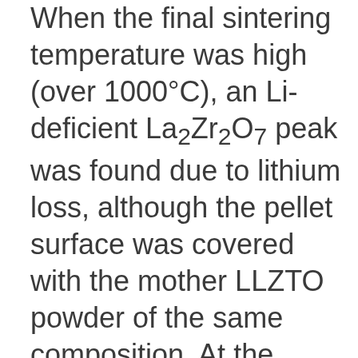When the final sintering temperature was high (over 1000°C), an Li-deficient La₂Zr₂O₇ peak was found due to lithium loss, although the pellet surface was covered with the mother LLZTO powder of the same composition. At the highest sintering temperature of 1100°C, a strong peak corresponding the La₂Zr₂O₇